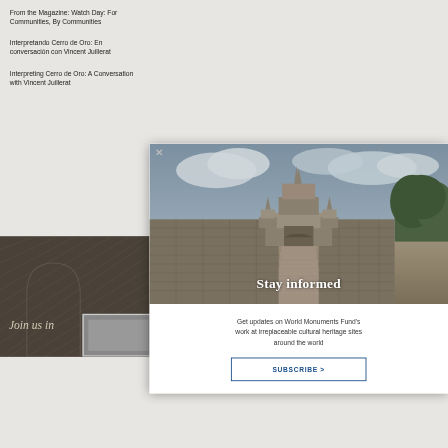From the Magazine: Watch Day: For Communities, By Communities
Interpretando Cerro de Oro: En conversación con Vincent Juillerat
Interpreting Cerro de Oro: A Conversation with Vincent Juillerat
[Figure (illustration): Dark background with arch/textile pattern, italic text 'Join us in...' overlay, and partial small image at bottom left]
[Figure (photo): Photo of ancient temple ruins (Angkor-style stone temple complex with pathway, towers and surrounding trees under cloudy sky)]
Stay informed
Get updates on World Monuments Fund's work at irreplaceable cultural heritage sites around the world
SUBSCRIBE >